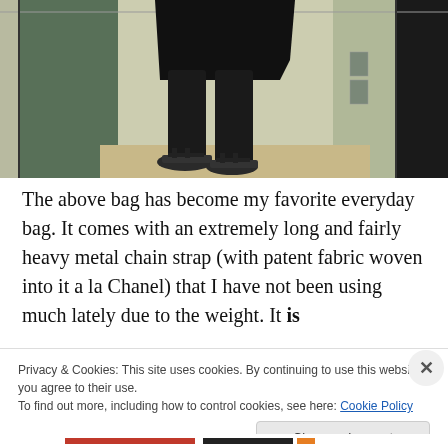[Figure (photo): A person standing in what appears to be an elevator or hallway, wearing black pants/jeans, sandals, and holding or wearing a dark bag. Only the lower body and feet are visible. The background shows wall panels and a dark figure or bag on the right side.]
The above bag has become my favorite everyday bag. It comes with an extremely long and fairly heavy metal chain strap (with patent fabric woven into it a la Chanel) that I have not been using much lately due to the weight. It is
Privacy & Cookies: This site uses cookies. By continuing to use this website, you agree to their use.
To find out more, including how to control cookies, see here: Cookie Policy
Close and accept